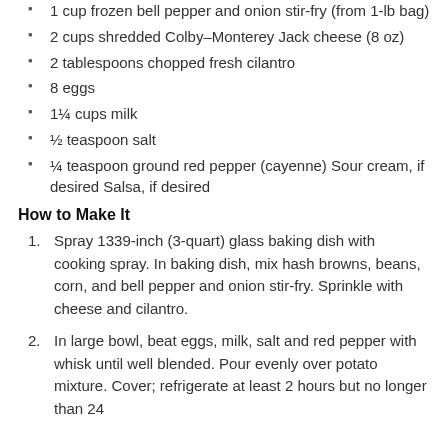1 cup frozen bell pepper and onion stir-fry (from 1-lb bag)
2 cups shredded Colby–Monterey Jack cheese (8 oz)
2 tablespoons chopped fresh cilantro
8 eggs
1¼ cups milk
½ teaspoon salt
¼ teaspoon ground red pepper (cayenne) Sour cream, if desired Salsa, if desired
How to Make It
Spray 1339-inch (3-quart) glass baking dish with cooking spray. In baking dish, mix hash browns, beans, corn, and bell pepper and onion stir-fry. Sprinkle with cheese and cilantro.
In large bowl, beat eggs, milk, salt and red pepper with whisk until well blended. Pour evenly over potato mixture. Cover; refrigerate at least 2 hours but no longer than 24